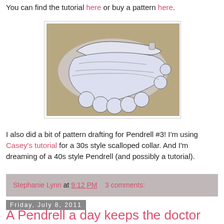You can find the tutorial here or buy a pattern here.
[Figure (photo): Photo of white fabric cut into scalloped collar pattern pieces laid flat on a beige carpet]
I also did a bit of pattern drafting for Pendrell #3! I'm using Casey's tutorial for a 30s style scalloped collar. And I'm dreaming of a 40s style Pendrell (and possibly a tutorial).
Stephanie Lynn at 9:12 PM    3 comments:
Friday, July 8, 2011
A Pendrell a day keeps the doctor away